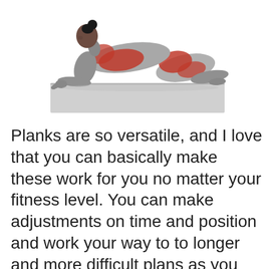[Figure (illustration): Anatomical illustration of a woman performing a plank exercise. The figure is shown in a side view, in a low plank position resting on forearms and toes. Muscles are highlighted: chest/pectorals, shoulder/deltoids, and gluteus/hamstrings are shown in orange-red, while remaining musculature is rendered in grey. The figure has dark hair in a bun.]
Planks are so versatile, and I love that you can basically make these work for you no matter your fitness level. You can make adjustments on time and position and work your way to to longer and more difficult plans as you become stronger.